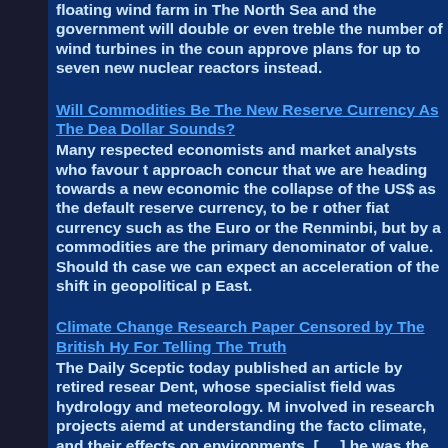floating wind farm in The North Sea and the government will double or even treble the number of wind turbines in the country, approve plans for up to seven new nuclear reactors instead.
Will Commodities Be The New Reserve Currency As The Death Of The Dollar Sounds?
Many respected economists and market analysts who favour this approach concur that we are heading towards a new economic era, the collapse of the US$ as the default reserve currency, to be replaced not by another other fiat currency such as the Euro or the Renminbi, but by a system where commodities are the primary denominator of value. Should this be the case we can expect an acceleration of the shift in geopolitical power to the East.
Climate Change Research Paper Censored by The British Hydrological Society For Telling The Truth
The Daily Sceptic today published an article by retired researcher Dennis Dent, whose specialist field was hydrology and meteorology. Mr Dent had been involved in research projects aiemd at understanding the factors that affect climate, and their effects on environments, [ ... ] he was the World Meteorological Organisation Chief Technical Advisor to the Flood Forecasting and Warning Centre in Bangladesh, a low lying nation especially prone to flooding.
Russia-Ukraine crisis will put more pressure on the global food supply, driving up prices around the world
After three weeks of non-violent civil disobedience outside